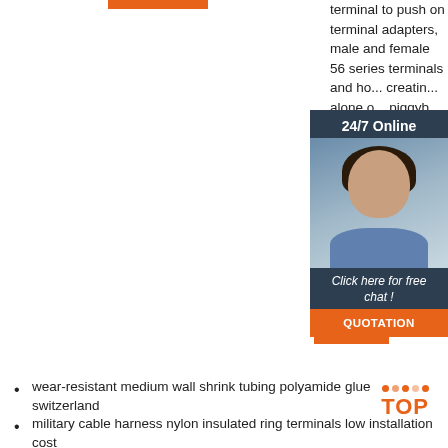terminal to push on terminal adapters, male and female 56 series terminals and ho... creatin... alone o... piggyb... on tern...
[Figure (screenshot): 24/7 Online chat widget with woman wearing headset, 'Click here for free chat!' text, and orange QUOTATION button]
[Figure (other): Orange 'Get' button (partially visible)]
wear-resistant medium wall shrink tubing polyamide glue switzerland
military cable harness nylon insulated ring terminals low installation cost
electrical spade connectors strong cutting resistance factory outlet
good service automotive cable harness single wall heat...